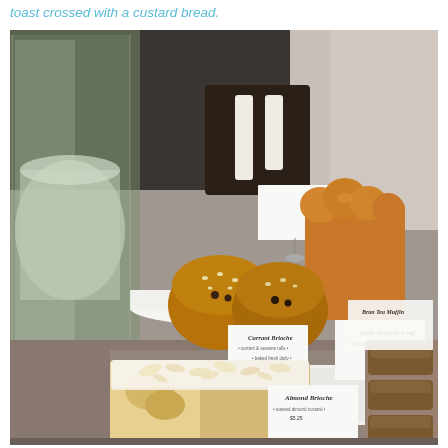toast crossed with a custard bread.
[Figure (photo): Bakery display showing various brioche breads and pastries on a white tiered cake stand and tray. Items include currant/sesame brioche rolls, a glazed baby brioche loaf, an almond brioche dusted with powdered sugar, and what appears to be bran muffins or similar items on the right side. Small label cards with price tags are placed in front of each item. A large glass jar is visible on the left. The setting is a modern bakery counter.]